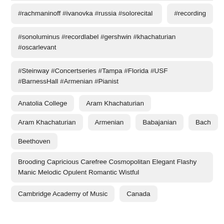#rachmaninoff #ivanovka #russia #solorecital   #recording
#sonoluminus #recordlabel #gershwin #khachaturian #oscarlevant
#Steinway #Concertseries #Tampa #Florida #USF #BarnessHall #Armenian #Pianist
Anatolia College
Aram Khachaturian
Aram Khachaturian
Armenian
Babajanian
Bach
Beethoven
Brooding Capricious Carefree Cosmopolitan Elegant Flashy Manic Melodic Opulent Romantic Wistful
Cambridge Academy of Music
Canada